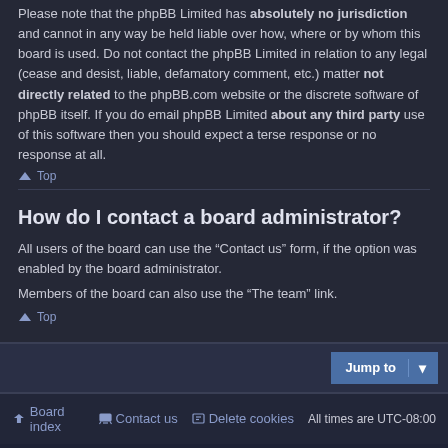Please note that the phpBB Limited has absolutely no jurisdiction and cannot in any way be held liable over how, where or by whom this board is used. Do not contact the phpBB Limited in relation to any legal (cease and desist, liable, defamatory comment, etc.) matter not directly related to the phpBB.com website or the discrete software of phpBB itself. If you do email phpBB Limited about any third party use of this software then you should expect a terse response or no response at all.
⌃ Top
How do I contact a board administrator?
All users of the board can use the “Contact us” form, if the option was enabled by the board administrator.
Members of the board can also use the “The team” link.
⌃ Top
Jump to | Board index | Contact us | Delete cookies | All times are UTC-08:00 | Powered by phpBB® Forum Software © phpBB Limited | Style by Arty - phpBB 3.3 by MrGaby | Privacy | Terms